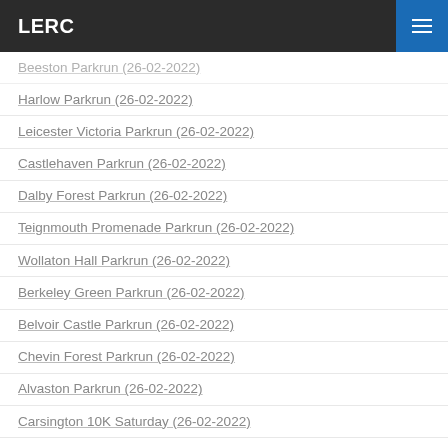LERC
Beeston Parkrun (26-02-2022)
Harlow Parkrun (26-02-2022)
Leicester Victoria Parkrun (26-02-2022)
Castlehaven Parkrun (26-02-2022)
Dalby Forest Parkrun (26-02-2022)
Teignmouth Promenade Parkrun (26-02-2022)
Wollaton Hall Parkrun (26-02-2022)
Berkeley Green Parkrun (26-02-2022)
Belvoir Castle Parkrun (26-02-2022)
Chevin Forest Parkrun (26-02-2022)
Alvaston Parkrun (26-02-2022)
Carsington 10K Saturday (26-02-2022)
Belvoir Challenge 15 mile (26-02-2022)
Belvoir Challenge 26 mile (26-02-2022)
LERC 5 Mile Time Trial (22-02-2022)